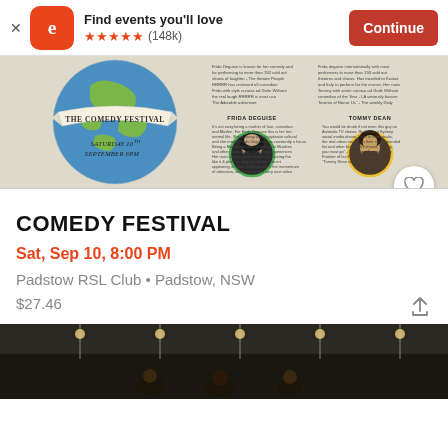Find events you'll love ★★★★★ (148k) Continue
[Figure (photo): Comedy Festival promotional poster showing a globe with banner reading 'The Comedy Festival', 'Saturday 10th September 8PM', with performer photos of Frida Deguise and Tommy Dean]
COMEDY FESTIVAL
Sat, Sep 10, 8:00 PM
Padstow RSL Club • Padstow, NSW
$27.46
[Figure (photo): Dark photo of people at an event/market, taken from outside looking in]